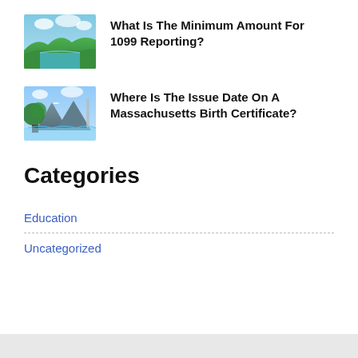[Figure (illustration): Fantasy landscape painting with blue sky, green hills, and water scene]
What Is The Minimum Amount For 1099 Reporting?
[Figure (illustration): Fantasy landscape painting with large tree, mountains, and waterfall scene]
Where Is The Issue Date On A Massachusetts Birth Certificate?
Categories
Education
Uncategorized